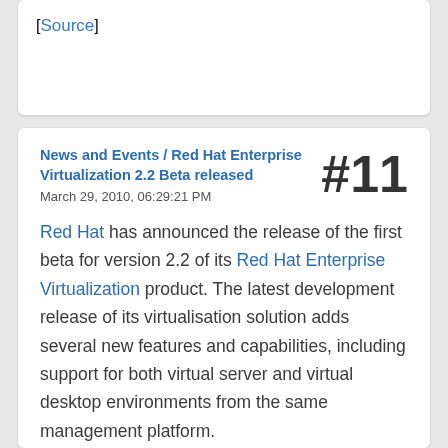[Source]
News and Events / Red Hat Enterprise Virtualization 2.2 Beta released
March 29, 2010, 06:29:21 PM
#11
Red Hat has announced the release of the first beta for version 2.2 of its Red Hat Enterprise Virtualization product. The latest development release of its virtualisation solution adds several new features and capabilities, including support for both virtual server and virtual desktop environments from the same management platform.
Red Hat Enterprise Virtualization 2.2 beta